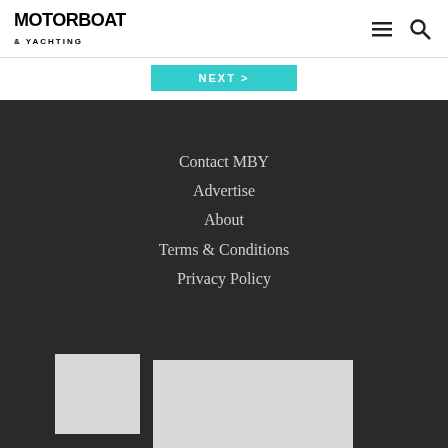MOTORBOAT & YACHTING
Next >
Contact MBY
Advertise
About
Terms & Conditions
Privacy Policy
[Figure (photo): Thumbnail image placeholder (grey rectangle, left)]
[Figure (photo): Thumbnail image placeholder (grey rectangle, right)]